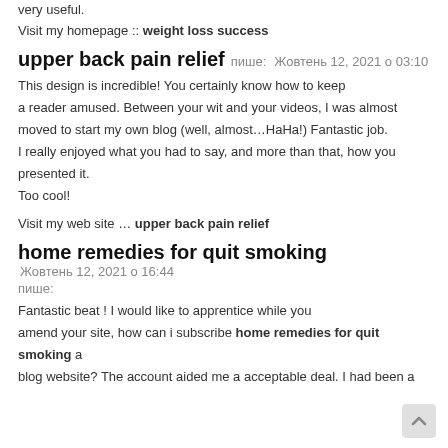very useful.
Visit my homepage :: weight loss success
upper back pain relief пише: Жовтень 12, 2021 о 03:10
This design is incredible! You certainly know how to keep a reader amused. Between your wit and your videos, I was almost moved to start my own blog (well, almost…HaHa!) Fantastic job. I really enjoyed what you had to say, and more than that, how you presented it. Too cool!
Visit my web site … upper back pain relief
home remedies for quit smoking Жовтень 12, 2021 о 16:44 пише:
Fantastic beat ! I would like to apprentice while you amend your site, how can i subscribe home remedies for quit smoking a blog website? The account aided me a acceptable deal. I had been a